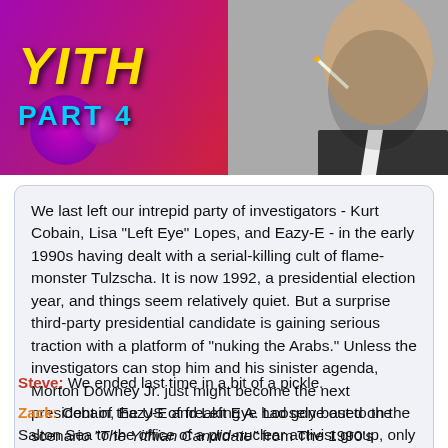[Figure (photo): Banner image showing a man smoking a cigarette against a colorful purple/red background with yellow italic title text and 'PART 4' in cyan]
We last left our intrepid party of investigators - Kurt Cobain, Lisa "Left Eye" Lopes, and Eazy-E - in the early 1990s having dealt with a serial-killing cult of flame-monster Tulzscha. It is now 1992, a presidential election year, and things seem relatively quiet. But a surprise third-party presidential candidate is gaining serious traction with a platform of "nuking the Arabs." Unless the investigators can stop him and his sinister agenda, Morton Downey Jr. just might become the next president of the US of freaking A. Loosely based on the scenario "The Yithian Candidate" from The 1990's Handbook.
Steve: We ended last time in a bit of a pickle.
Zack: Cobain, Eazy-E and Left Eye had gone out to the Salton Sea to the office of a pro-nuclear activist group, only